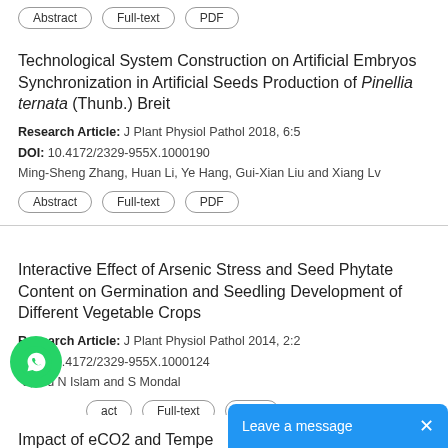Abstract | Full-text | PDF
Technological System Construction on Artificial Embryos Synchronization in Artificial Seeds Production of Pinellia ternata (Thunb.) Breit
Research Article: J Plant Physiol Pathol 2018, 6:5
DOI: 10.4172/2329-955X.1000190
Ming-Sheng Zhang, Huan Li, Ye Hang, Gui-Xian Liu and Xiang Lv
Abstract | Full-text | PDF
Interactive Effect of Arsenic Stress and Seed Phytate Content on Germination and Seedling Development of Different Vegetable Crops
Research Article: J Plant Physiol Pathol 2014, 2:2
DOI: 10.4172/2329-955X.1000124
*a, Md N Islam and S Mondal
act | Full-text | PDF
Impact of eCO2 and Tempe...